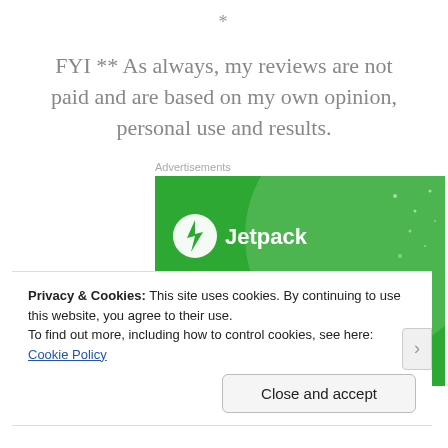*
FYI ** As always, my reviews are not paid and are based on my own opinion, personal use and results.
Advertisements
[Figure (screenshot): Jetpack advertisement banner with green background showing 'We guard your WordPress site' text and Jetpack logo]
Privacy & Cookies: This site uses cookies. By continuing to use this website, you agree to their use.
To find out more, including how to control cookies, see here:
Cookie Policy
Close and accept